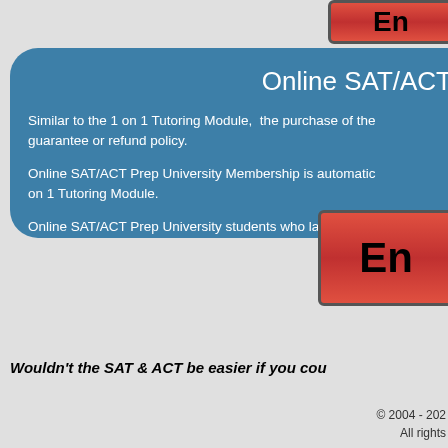[Figure (other): Partial red button at top right, showing 'En' text]
Online SAT/ACT
Similar to the 1 on 1 Tutoring Module, the purchase of the guarantee or refund policy.
Online SAT/ACT Prep University Membership is automatically on 1 Tutoring Module.
Online SAT/ACT Prep University students who later decide can do so for a $195 up charge.
[Figure (other): Red enrollment button showing 'En' text]
Wouldn’t the SAT & ACT be easier if you cou
© 2004 - 202
All rights